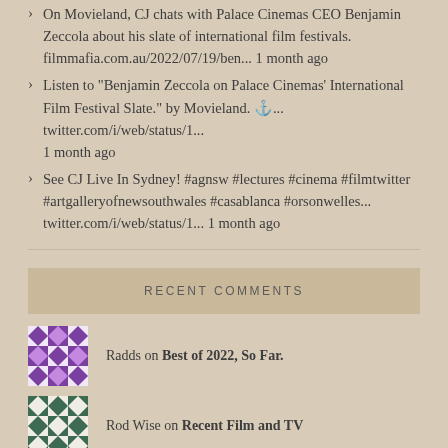On Movieland, CJ chats with Palace Cinemas CEO Benjamin Zeccola about his slate of international film festivals. filmmafia.com.au/2022/07/19/ben... 1 month ago
Listen to "Benjamin Zeccola on Palace Cinemas' International Film Festival Slate." by Movieland. ⚓... twitter.com/i/web/status/1... 1 month ago
See CJ Live In Sydney! #agnsw #lectures #cinema #filmtwitter #artgalleryofnewsouthwales #casablanca #orsonwelles... twitter.com/i/web/status/1... 1 month ago
RECENT COMMENTS
Radds on Best of 2022, So Far.
Rod Wise on Recent Film and TV
Rod Wise on Nitram